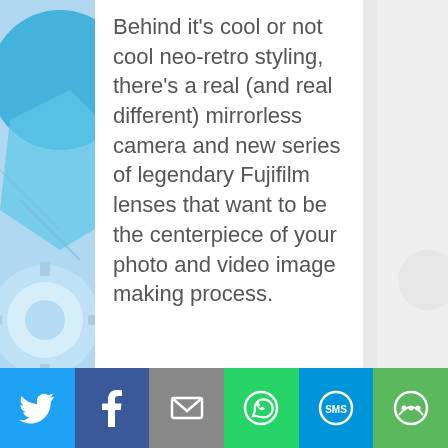[Figure (illustration): Blue decorative illustration on the left side of the page showing geometric/mechanical shapes]
Behind it's cool or not cool neo-retro styling, there's a real (and real different) mirrorless camera and new series of legendary Fujifilm lenses that want to be the centerpiece of your photo and video image making process.
[Figure (illustration): Social sharing toolbar at the bottom with Twitter, Facebook, Email, WhatsApp, SMS, and Share icons]